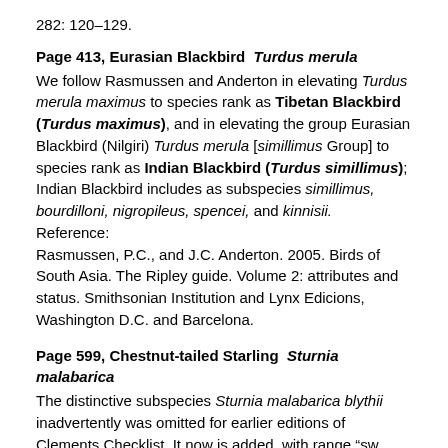282: 120–129.
Page 413, Eurasian Blackbird  Turdus merula
We follow Rasmussen and Anderton in elevating Turdus merula maximus to species rank as Tibetan Blackbird (Turdus maximus), and in elevating the group Eurasian Blackbird (Nilgiri) Turdus merula [simillimus Group] to species rank as Indian Blackbird (Turdus simillimus); Indian Blackbird includes as subspecies simillimus, bourdilloni, nigropileus, spencei, and kinnisii.
Reference:
Rasmussen, P.C., and J.C. Anderton. 2005. Birds of South Asia. The Ripley guide. Volume 2: attributes and status. Smithsonian Institution and Lynx Edicions, Washington D.C. and Barcelona.
Page 599, Chestnut-tailed Starling  Sturnia malabarica
The distinctive subspecies Sturnia malabarica blythii inadvertently was omitted for earlier editions of Clements Checklist. It now is added, with range "sw India." Following Rasmussen and Anderton, we elevate this subspecies to species rank as Malabar Starling (Sturnia blythii).
Reference: